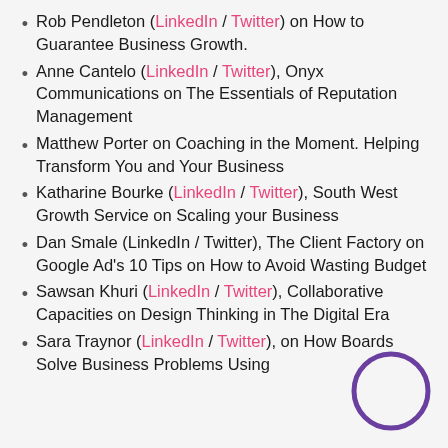Rob Pendleton (LinkedIn / Twitter) on How to Guarantee Business Growth.
Anne Cantelo (LinkedIn / Twitter), Onyx Communications on The Essentials of Reputation Management
Matthew Porter on Coaching in the Moment. Helping Transform You and Your Business
Katharine Bourke (LinkedIn / Twitter), South West Growth Service on Scaling your Business
Dan Smale (LinkedIn / Twitter), The Client Factory on Google Ad’s 10 Tips on How to Avoid Wasting Budget
Sawsan Khuri (LinkedIn / Twitter), Collaborative Capacities on Design Thinking in The Digital Era
Sara Traynor (LinkedIn / Twitter), on How Boards Solve Business Problems Using